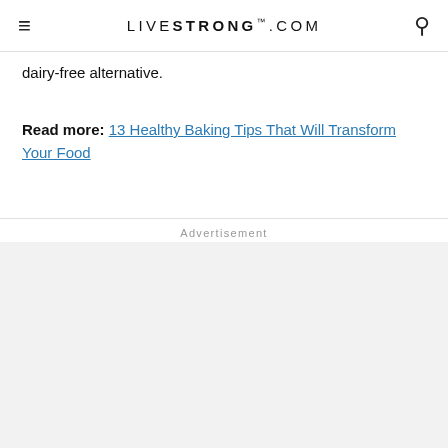LIVESTRONG.COM
dairy-free alternative.
Read more: 13 Healthy Baking Tips That Will Transform Your Food
Advertisement